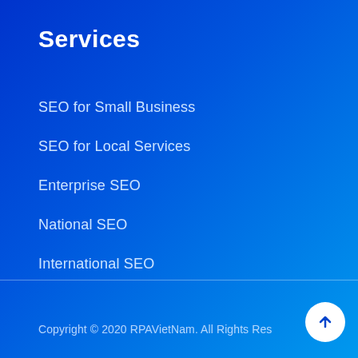Services
SEO for Small Business
SEO for Local Services
Enterprise SEO
National SEO
International SEO
Copyright © 2020 RPAVietNam. All Rights Reserved.